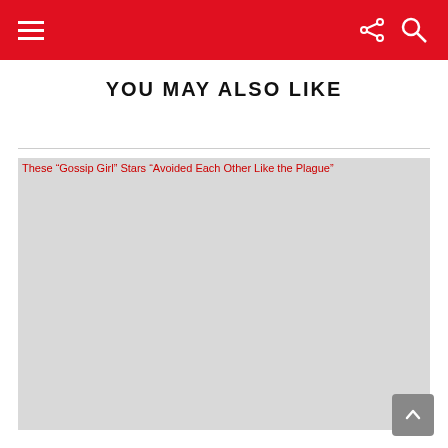Navigation bar with hamburger menu, share icon, and search icon
YOU MAY ALSO LIKE
[Figure (photo): Broken image placeholder for article: These “Gossip Girl” Stars “Avoided Each Other Like the Plague”. Image failed to load, showing alt text in red on grey background.]